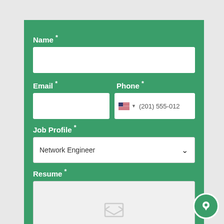Name *
[Figure (screenshot): Empty text input field for Name]
Email *
Phone *
[Figure (screenshot): Empty text input field for Email]
[Figure (screenshot): Phone input field with US flag and placeholder (201) 555-012]
Job Profile *
[Figure (screenshot): Dropdown select showing Network Engineer]
Resume *
[Figure (screenshot): File upload area with envelope/upload icon]